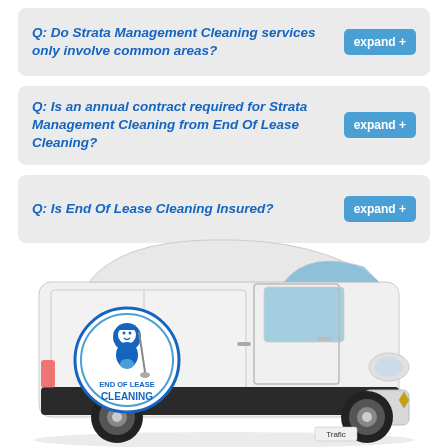Q: Do Strata Management Cleaning services only involve common areas?
Q: Is an annual contract required for Strata Management Cleaning from End Of Lease Cleaning?
Q: Is End Of Lease Cleaning Insured?
[Figure (photo): White delivery van with End of Lease Cleaning logo on the side panel, parked facing right. The van is a Renault Trafic with a blue circular mascot logo.]